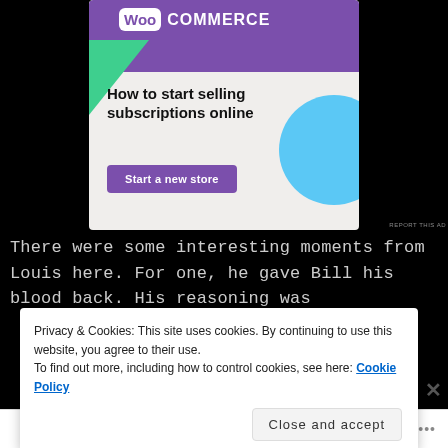[Figure (screenshot): WooCommerce advertisement banner with purple header logo, green triangle decoration, blue circle accent, headline 'How to start selling subscriptions online', and purple 'Start a new store' button on light gray background]
REPORT THIS AD
There were some interesting moments from Louis here. For one, he gave Bill his blood back. His reasoning was
Privacy & Cookies: This site uses cookies. By continuing to use this website, you agree to their use.
To find out more, including how to control cookies, see here: Cookie Policy
Close and accept
FOLLOW ...